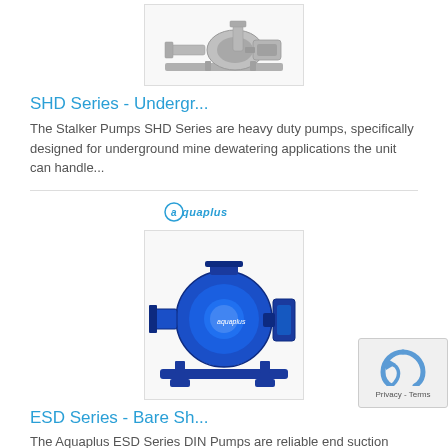[Figure (photo): SHD Series underground mine dewatering pump - grey industrial pump shown from above]
SHD Series - Undergr...
The Stalker Pumps SHD Series are heavy duty pumps, specifically designed for underground mine dewatering applications the unit can handle...
[Figure (logo): Aquaplus brand logo in blue italic text]
[Figure (photo): ESD Series blue centrifugal pump - Aquaplus brand, bare shaft end suction pump]
ESD Series - Bare Sh...
The Aquaplus ESD Series DIN Pumps are reliable end suction pumps manufactured to the international standard DIN 24255 (EN 733)....